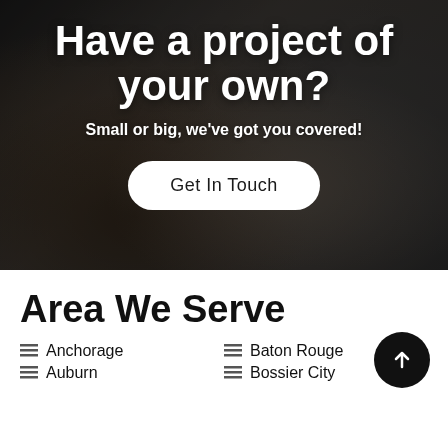Have a project of your own?
Small or big, we've got you covered!
Get In Touch
Area We Serve
Anchorage
Auburn
Baton Rouge
Bossier City